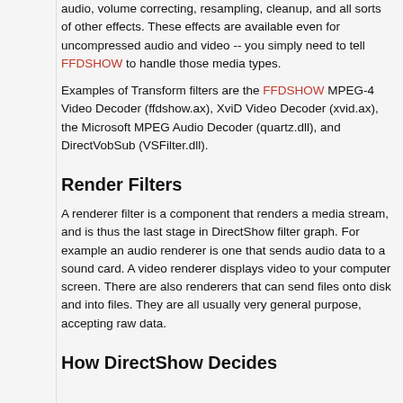audio, volume correcting, resampling, cleanup, and all sorts of other effects. These effects are available even for uncompressed audio and video -- you simply need to tell FFDSHOW to handle those media types.
Examples of Transform filters are the FFDSHOW MPEG-4 Video Decoder (ffdshow.ax), XviD Video Decoder (xvid.ax), the Microsoft MPEG Audio Decoder (quartz.dll), and DirectVobSub (VSFilter.dll).
Render Filters
A renderer filter is a component that renders a media stream, and is thus the last stage in DirectShow filter graph. For example an audio renderer is one that sends audio data to a sound card. A video renderer displays video to your computer screen. There are also renderers that can send files onto disk and into files. They are all usually very general purpose, accepting raw data.
How DirectShow Decides